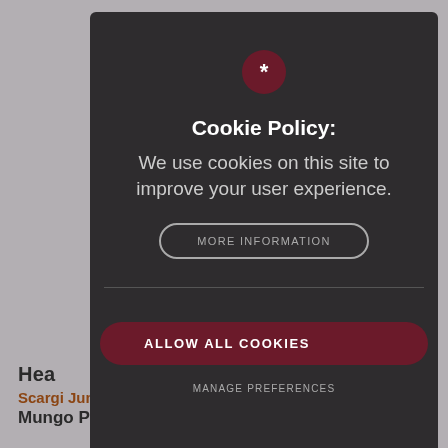[Figure (screenshot): Cookie consent modal overlay on a school website. The modal has a dark background with a dark red asterisk circle icon at top, bold white title 'Cookie Policy:', body text about using cookies to improve user experience, a 'MORE INFORMATION' outlined button, a horizontal divider, a filled dark red 'ALLOW ALL COOKIES' button, and a 'MANAGE PREFERENCES' text link. Behind the modal is a blurred school website page showing partial text 'Hea', 'Scargi Junior School', 'Mungo Park Road'.]
Cookie Policy:
We use cookies on this site to improve your user experience.
MORE INFORMATION
ALLOW ALL COOKIES
MANAGE PREFERENCES
Hea
Scargi Junior School
Mungo Park Road